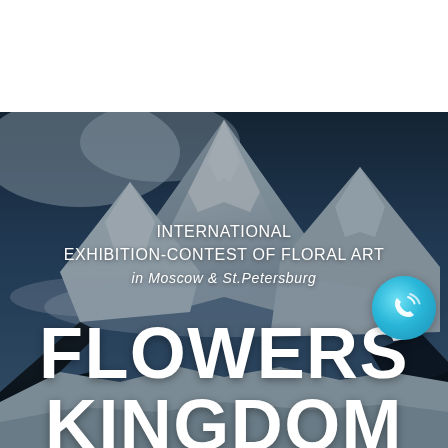[Figure (photo): Snow-covered mountain peaks with dark rocky outcrops at the base, blue sky with clouds. White blank area at top of page.]
INTERNATIONAL EXHIBITION-CONTEST OF FLORAL ART in Moscow & St.Petersburg
FLOWERS KINGDOM